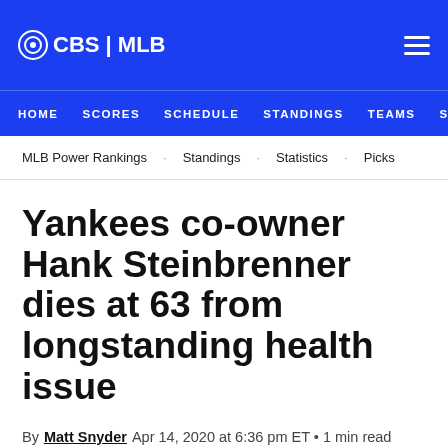CBS | MLB
HOME  SCORES  SCHEDULE  STANDINGS  TEAMS  STATS
MLB Power Rankings  Standings  Statistics  Picks
Yankees co-owner Hank Steinbrenner dies at 63 from longstanding health issue
By Matt Snyder Apr 14, 2020 at 6:36 pm ET • 1 min read